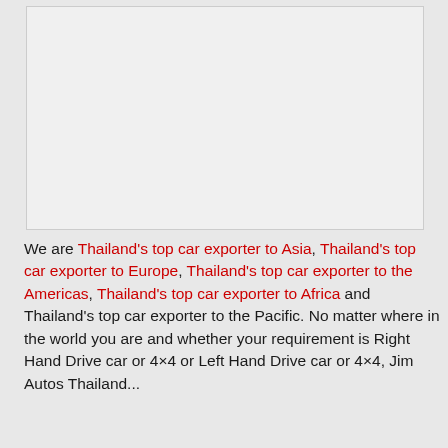[Figure (photo): Blank/placeholder image area with light gray background]
We are Thailand's top car exporter to Asia, Thailand's top car exporter to Europe, Thailand's top car exporter to the Americas, Thailand's top car exporter to Africa and Thailand's top car exporter to the Pacific. No matter where in the world you are and whether your requirement is Right Hand Drive car or 4×4 or Left Hand Drive car or 4×4, Jim Autos Thailand...